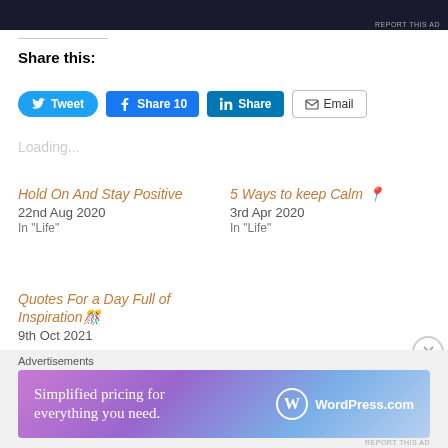[Figure (screenshot): Top dark banner, partially visible advertisement]
Share this:
[Figure (screenshot): Social share buttons: Tweet, Share 10 (Facebook), Share (LinkedIn), Email]
Loading...
Hold On And Stay Positive
22nd Aug 2020
In "Life"
5 Ways to keep Calm 📍
3rd Apr 2020
In "Life"
Quotes For a Day Full of Inspiration 🎊
9th Oct 2021
Advertisements
[Figure (screenshot): WordPress.com advertisement banner: Simplified pricing for everything you need.]